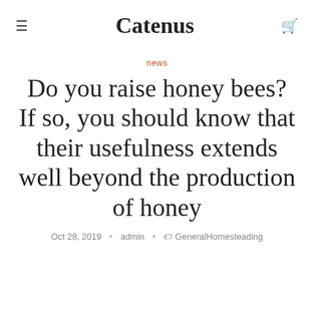≡  Catenus  🛒
news
Do you raise honey bees? If so, you should know that their usefulness extends well beyond the production of honey
Oct 28, 2019 · admin · 🏷 GeneralHomesteading